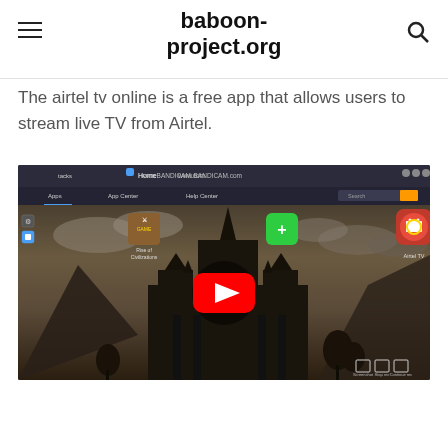baboon-project.org
The airtel tv online is a free app that allows users to stream live TV from Airtel.
[Figure (screenshot): A YouTube video thumbnail showing a Bandicam screen recording of an app store interface with app icons including Airtel TV, overlaid on a dark fantasy cathedral background. A large red YouTube play button is centered on the image.]